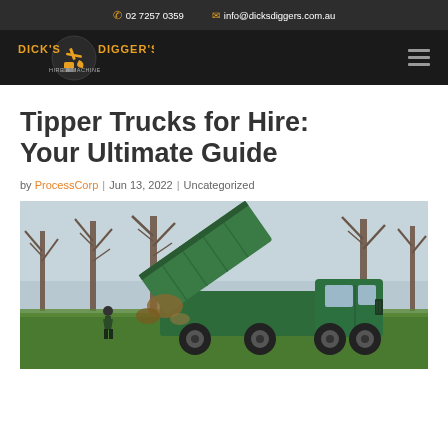02 7257 0359  info@dicksdiggers.com.au
[Figure (logo): Dick's Digger's logo with excavator graphic on dark navigation bar]
Tipper Trucks for Hire: Your Ultimate Guide
by ProcessCorp | Jun 13, 2022 | Uncategorized
[Figure (photo): A green tipper truck with its bed raised, dumping material, set among bare winter trees in a green field]